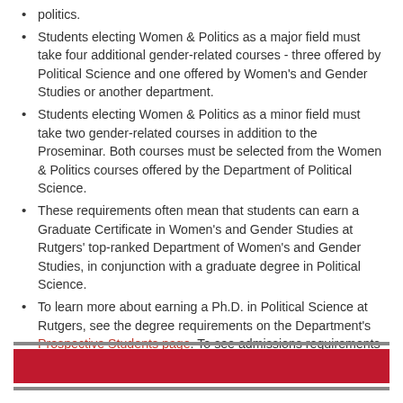politics.
Students electing Women & Politics as a major field must take four additional gender-related courses - three offered by Political Science and one offered by Women's and Gender Studies or another department.
Students electing Women & Politics as a minor field must take two gender-related courses in addition to the Proseminar. Both courses must be selected from the Women & Politics courses offered by the Department of Political Science.
These requirements often mean that students can earn a Graduate Certificate in Women's and Gender Studies at Rutgers' top-ranked Department of Women's and Gender Studies, in conjunction with a graduate degree in Political Science.
To learn more about earning a Ph.D. in Political Science at Rutgers, see the degree requirements on the Department's Prospective Students page. To see admissions requirements and to submit an application, visit our Admissions page.
[Figure (other): Footer with thin gray line, red bar, and thin gray line at the bottom of the page.]